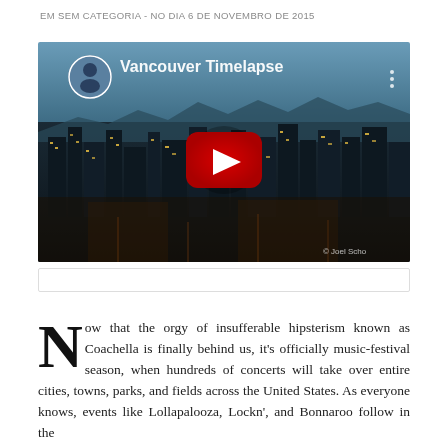EM SEM CATEGORIA - NO DIA 6 DE NOVEMBRO DE 2015
[Figure (screenshot): YouTube embedded video player showing 'Vancouver Timelapse' — aerial night cityscape of Vancouver with city lights, a play button overlay, a circular profile avatar top-left, video title text 'Vancouver Timelapse', and a © Joel Scho watermark at lower right.]
[Figure (other): A search/input bar with rounded border, empty.]
Now that the orgy of insufferable hipsterism known as Coachella is finally behind us, it's officially music-festival season, when hundreds of concerts will take over entire cities, towns, parks, and fields across the United States. As everyone knows, events like Lollapalooza, Lockn', and Bonnaroo follow in the